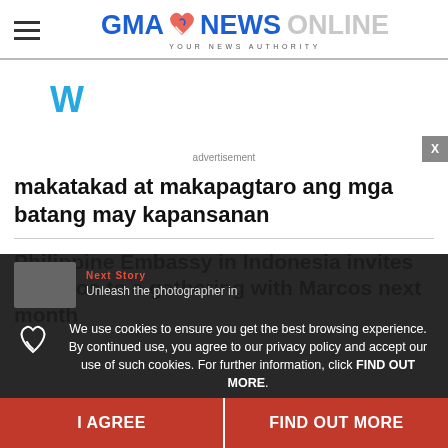[Figure (logo): GMA News Online logo with heart icon and tagline YOUR NEWS AUTHORITY]
[Figure (other): Advertisement area with W icon/logo]
advertisement
makatakad at makapagtaro ang mga batang may kapansanan
Philippine Embassy in Indonesia invites Filipinos to a gathering with Marcos next month
We use cookies to ensure you get the best browsing experience. By continued use, you agree to our privacy policy and accept our use of such cookies. For further information, click FIND OUT MORE.
I AGREE
FIND OUT MORE